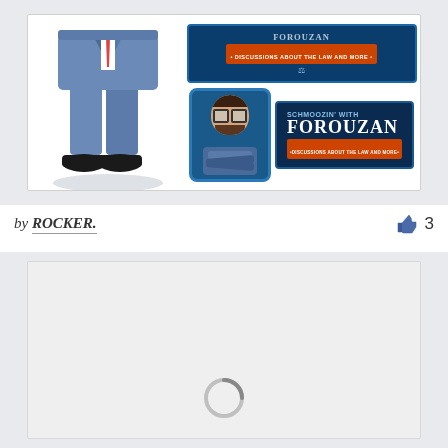[Figure (illustration): A card/post showing two illustrations: left side shows a cartoon man in a blue suit from waist down with black shoes, right side shows two logo versions of 'Schmoozin' with Forouzan - Discussions about the Law and More' with a caricature of a bearded man in a suit with arms crossed and glasses]
by ROCKER.
[Figure (other): A second card/post with a light gray background showing the beginning of a loading spinner at the bottom center, indicating content is loading]